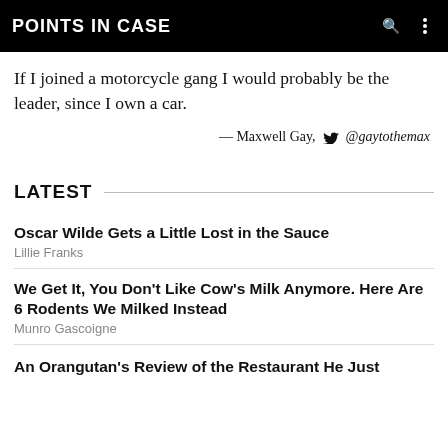POINTS IN CASE
If I joined a motorcycle gang I would probably be the leader, since I own a car.
— Maxwell Gay, @gaytothemax
LATEST
Oscar Wilde Gets a Little Lost in the Sauce
Lillie Franks
We Get It, You Don't Like Cow's Milk Anymore. Here Are 6 Rodents We Milked Instead
Munro Gascoigne
An Orangutan's Review of the Restaurant He Just